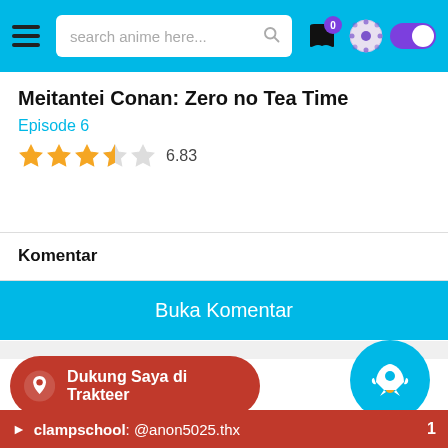search anime here...
Meitantei Conan: Zero no Tea Time
Episode 6
6.83
Komentar
Buka Komentar
Dukung Saya di Trakteer
Like Fanspage
clampschool: @anon5025.thx   1